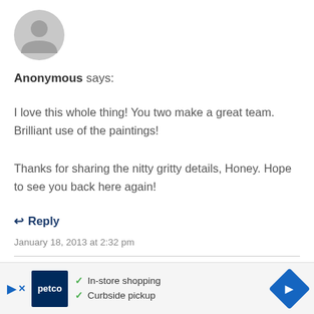[Figure (illustration): Gray default user avatar circle with person silhouette icon]
Anonymous says:
I love this whole thing! You two make a great team. Brilliant use of the paintings!

Thanks for sharing the nitty gritty details, Honey. Hope to see you back here again!
↩ Reply
January 18, 2013 at 2:32 pm
[Figure (illustration): Gray default user avatar circle partially visible at bottom]
[Figure (other): Petco advertisement bar: In-store shopping, Curbside pickup]